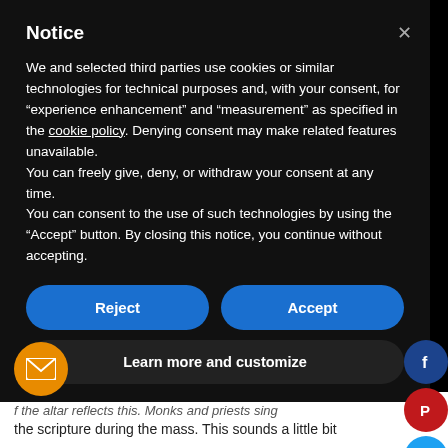Notice
We and selected third parties use cookies or similar technologies for technical purposes and, with your consent, for “experience enhancement” and “measurement” as specified in the cookie policy. Denying consent may make related features unavailable.
You can freely give, deny, or withdraw your consent at any time.
You can consent to the use of such technologies by using the “Accept” button. By closing this notice, you continue without accepting.
Reject
Accept
Learn more and customize
f the altar reflects this. Monks and priests sing the scripture during the mass. This sounds a little bit